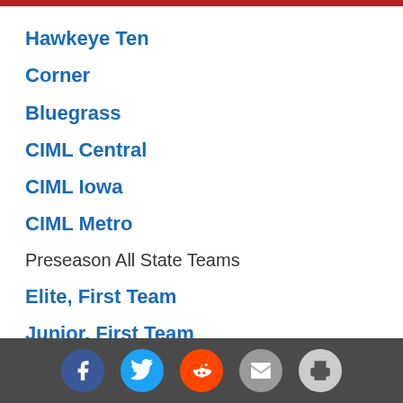Hawkeye Ten
Corner
Bluegrass
CIML Central
CIML Iowa
CIML Metro
Preseason All State Teams
Elite, First Team
Junior, First Team
Sophomore, First Team
1A, First Team
5A, First Team
4A, First Team